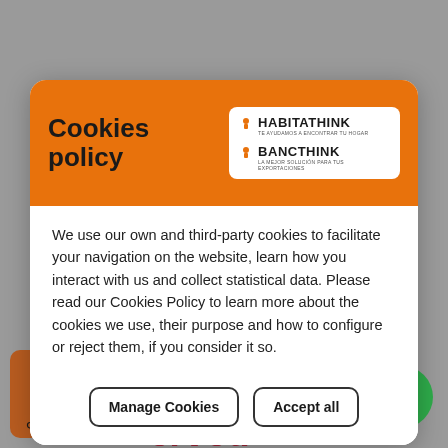[Figure (screenshot): Cookie consent modal dialog on a website. Orange header with 'Cookies policy' title and HabitaThink/BancThink logos on white box. White body with policy text and two buttons: 'Manage Cookies' and 'Accept all'. Background shows gray website page with partial elements.]
Cookies policy
We use our own and third-party cookies to facilitate your navigation on the website, learn how you interact with us and collect statistical data. Please read our Cookies Policy to learn more about the cookies we use, their purpose and how to configure or reject them, if you consider it so.